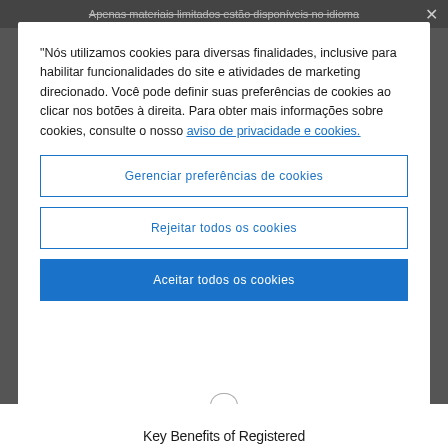Apenas materiais limitados estão disponíveis no idioma
"Nós utilizamos cookies para diversas finalidades, inclusive para habilitar funcionalidades do site e atividades de marketing direcionado. Você pode definir suas preferências de cookies ao clicar nos botões à direita. Para obter mais informações sobre cookies, consulte o nosso aviso de privacidade e cookies.
Gerenciar preferências de cookies
Rejeitar todos os cookies
Aceitar todos os cookies
Key Benefits of Registered